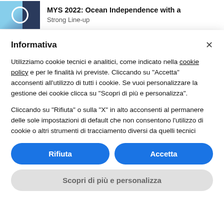[Figure (screenshot): Partial website header showing a thumbnail image with a circular icon and diagonal dark stripe, alongside bold title text 'MYS 2022: Ocean Independence with a Strong Line-up']
Informativa
Utilizziamo cookie tecnici e analitici, come indicato nella cookie policy e per le finalità ivi previste. Cliccando su "Accetta" acconsenti all'utilizzo di tutti i cookie. Se vuoi personalizzare la gestione dei cookie clicca su "Scopri di più e personalizza".
Cliccando su "Rifiuta" o sulla "X" in alto acconsenti al permanere delle sole impostazioni di default che non consentono l'utilizzo di cookie o altri strumenti di tracciamento diversi da quelli tecnici
Rifiuta
Accetta
Scopri di più e personalizza